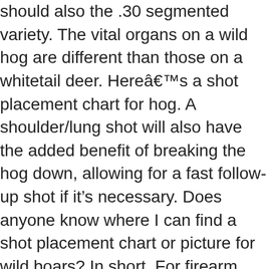should also the .30 segmented variety. The vital organs on a wild hog are different than those on a whitetail deer. Hereâ€™s a shot placement chart for hog. A shoulder/lung shot will also have the added benefit of breaking the hog down, allowing for a fast follow-up shot if it’s necessary. Does anyone know where I can find a shot placement chart or picture for wild boars? In short, For firearm users , the head and high shoulder are the right areas to target. Nov 7, 2019 - Explore Abuelo Baldwin’s board “Hog”, followed by 1634 people on Pinterest. Making an ethical shot requires slightly different shot placement. Hunting Tips. Hunting Season. I have big hands, I can palm a basketball. Indoor Water Garden. Looking for some experienced hoggers input on shot placement on ‘large-ish’ hogs with a bow. The hog will run and you have only about a 10% chance of finding him. 30’ Hog Trap T A C Trap 2013. Shot placement is the key with wild boar. Hog shot placement should be in the